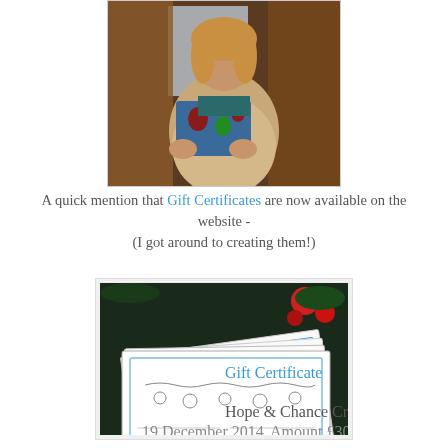[Figure (photo): A woman in a beige sweater holding a decorative blue Christmas card or tin near a window]
A quick mention that Gift Certificates are now available on the website -
(I got around to creating them!)
[Figure (photo): Several Hope & Chance Creativity gift certificates fanned out in front of a Christmas tree with red ornaments]